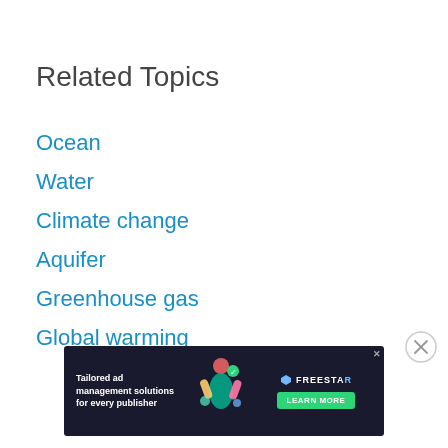Related Topics
Ocean
Water
Climate change
Aquifer
Greenhouse gas
Global warming
[Figure (screenshot): Advertisement banner for Freestar: 'Tailored ad management solutions for every publisher' with Learn More button and decorative illustration on dark background]